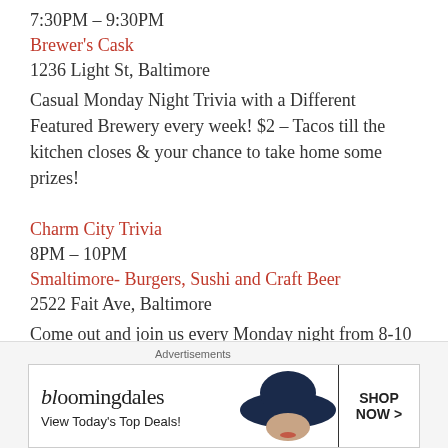7:30PM – 9:30PM
Brewer's Cask
1236 Light St, Baltimore
Casual Monday Night Trivia with a Different Featured Brewery every week! $2 – Tacos till the kitchen closes & your chance to take home some prizes!
Charm City Trivia
8PM – 10PM
Smaltimore- Burgers, Sushi and Craft Beer
2522 Fait Ave, Baltimore
Come out and join us every Monday night from 8-10 for trivia hosted by Charm City Trivia. We have great specials including all night happy hour and two for one select sushi rolls until 7. First, second, and third place gift cards for
[Figure (infographic): Bloomingdales advertisement banner: logo text 'bloomingdales', tagline 'View Today's Top Deals!', image of woman with hat, button 'SHOP NOW >']